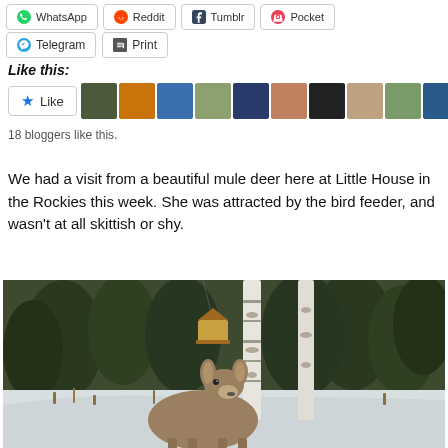[Figure (screenshot): Share buttons row: WhatsApp, Reddit, Tumblr, Pocket]
[Figure (screenshot): Share buttons row: Telegram, Print]
Like this:
[Figure (screenshot): Like button with star icon followed by 11 blogger avatar thumbnails]
18 bloggers like this.
We had a visit from a beautiful mule deer here at Little House in the Rockies this week. She was attracted by the bird feeder, and wasn't at all skittish or shy.
[Figure (photo): A mule deer standing in snow among birch trees with a bird feeder hanging above, evergreen forest in the background]